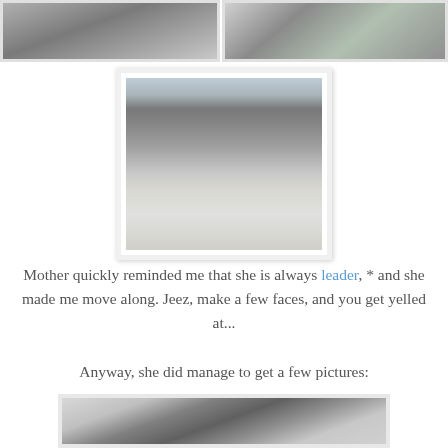[Figure (photo): Partial top-left photo of a horse or animal, cropped]
[Figure (photo): Partial top-right photo of a horse in snow, cropped]
[Figure (photo): Center photo of a grey horse in snowy outdoor setting with buildings in background]
Mother quickly reminded me that she is always leader, * and she made me move along. Jeez, make a few faces, and you get yelled at...
Anyway, she did manage to get a few pictures:
[Figure (photo): Bottom photo of back of a horse's head and ears, snowy sky with power line tower in background]